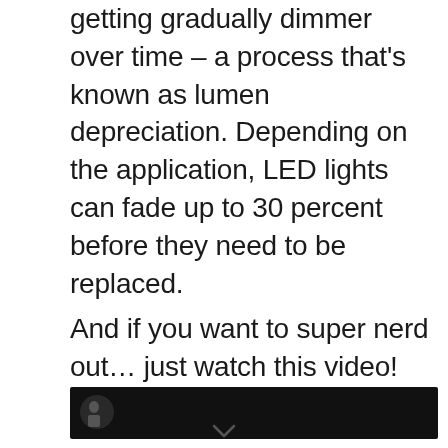getting gradually dimmer over time – a process that's known as lumen depreciation. Depending on the application, LED lights can fade up to 30 percent before they need to be replaced.
And if you want to super nerd out… just watch this video!
[Figure (screenshot): Video thumbnail — dark/black background with a small figure visible at the left side]